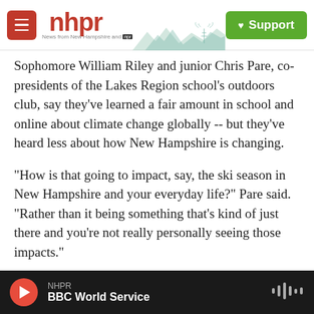[Figure (logo): NHPR header with logo (hamburger menu, nhpr text in red), mountain/radio tower silhouette in teal, and green Support button with heart icon]
Sophomore William Riley and junior Chris Pare, co-presidents of the Lakes Region school’s outdoors club, say they’ve learned a fair amount in school and online about climate change globally -- but they’ve heard less about how New Hampshire is changing.
“How is that going to impact, say, the ski season in New Hampshire and your everyday life?” Pare said. “Rather than it being something that’s kind of just there and you’re not really personally seeing those impacts.”
NHPR
BBC World Service